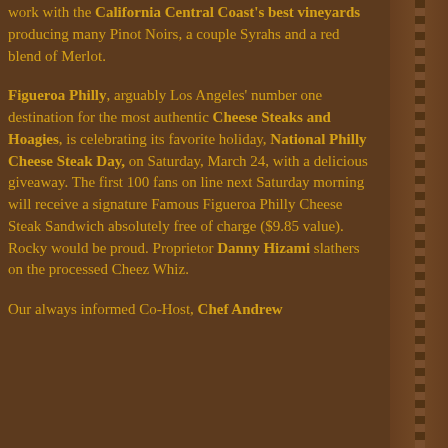work with the California Central Coast's best vineyards producing many Pinot Noirs, a couple Syrahs and a red blend of Merlot.
Figueroa Philly, arguably Los Angeles' number one destination for the most authentic Cheese Steaks and Hoagies, is celebrating its favorite holiday, National Philly Cheese Steak Day, on Saturday, March 24, with a delicious giveaway. The first 100 fans on line next Saturday morning will receive a signature Famous Figueroa Philly Cheese Steak Sandwich absolutely free of charge ($9.85 value). Rocky would be proud. Proprietor Danny Hizami slathers on the processed Cheez Whiz.
Our always informed Co-Host, Chef Andrew